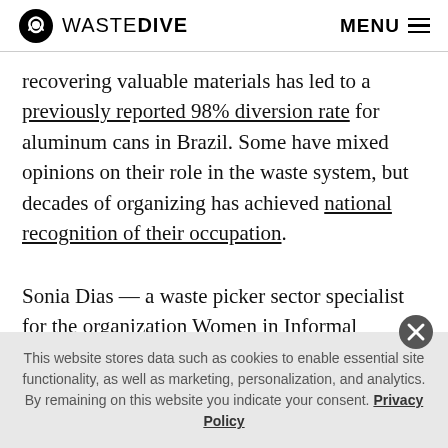WASTE DIVE  MENU
recovering valuable materials has led to a previously reported 98% diversion rate for aluminum cans in Brazil. Some have mixed opinions on their role in the waste system, but decades of organizing has achieved national recognition of their occupation.
Sonia Dias — a waste picker sector specialist for the organization Women in Informal Employment: Globalizing and Organizing (WIEGO) — said that
This website stores data such as cookies to enable essential site functionality, as well as marketing, personalization, and analytics. By remaining on this website you indicate your consent. Privacy Policy